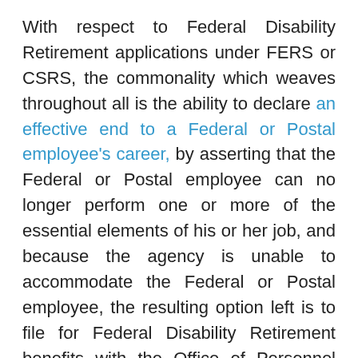With respect to Federal Disability Retirement applications under FERS or CSRS, the commonality which weaves throughout all is the ability to declare an effective end to a Federal or Postal employee's career, by asserting that the Federal or Postal employee can no longer perform one or more of the essential elements of his or her job, and because the agency is unable to accommodate the Federal or Postal employee, the resulting option left is to file for Federal Disability Retirement benefits with the Office of Personnel Management.
Logically, one would assume that such an agency action would result in essentially an automatic approval of a Federal Disability Retirement application.  Such an assumption would be erroneous, and to proceed to prepare, formulate and file a Federal Disability Retirement